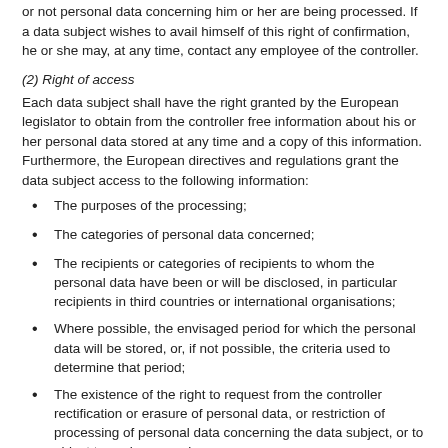or not personal data concerning him or her are being processed. If a data subject wishes to avail himself of this right of confirmation, he or she may, at any time, contact any employee of the controller.
(2) Right of access
Each data subject shall have the right granted by the European legislator to obtain from the controller free information about his or her personal data stored at any time and a copy of this information. Furthermore, the European directives and regulations grant the data subject access to the following information:
The purposes of the processing;
The categories of personal data concerned;
The recipients or categories of recipients to whom the personal data have been or will be disclosed, in particular recipients in third countries or international organisations;
Where possible, the envisaged period for which the personal data will be stored, or, if not possible, the criteria used to determine that period;
The existence of the right to request from the controller rectification or erasure of personal data, or restriction of processing of personal data concerning the data subject, or to object to such processing;